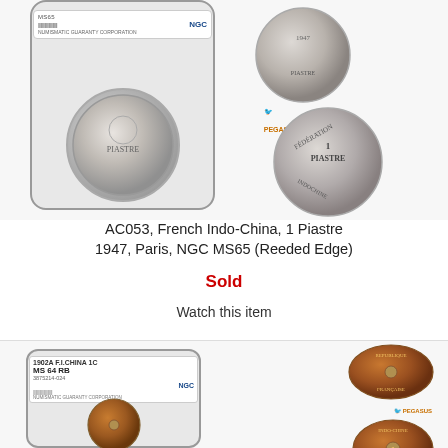[Figure (photo): NGC graded coin slab containing French Indo-China 1 Piastre 1947 coin (obverse), alongside separate images of the coin's obverse and reverse showing 1 Piastre denomination with rice sheaf design]
AC053, French Indo-China, 1 Piastre 1947, Paris, NGC MS65 (Reeded Edge)
Sold
Watch this item
[Figure (photo): NGC graded coin slab for 1902A F.I.CHINA 1C MS 64 RB coin (small holed cent), alongside obverse and reverse images of the copper coin with central hole]